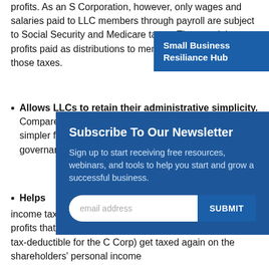profits. As an S Corporation, however, only wages and salaries paid to LLC members through payroll are subject to Social Security and Medicare taxes. The remaining profits paid as distributions to members don't get hit with those taxes.
Allows LLCs to retain their administrative simplicity. Compared to C Corps, the S Corp election is much simpler from a legal, tax reporting, and corporate governance and formation perspective.
Helps LLCs avoid double taxation. C Corps avoid income tax on its profits at the corporate tax rate. Then, profits that the company pays as dividends (which are not tax-deductible for the C Corp) get taxed again on the shareholders' personal income
[Figure (infographic): Small Business Resiliance Hub banner in blue in the top right corner]
[Figure (infographic): Subscribe To Our Newsletter modal overlay with email input and SUBMIT button on dark blue background]